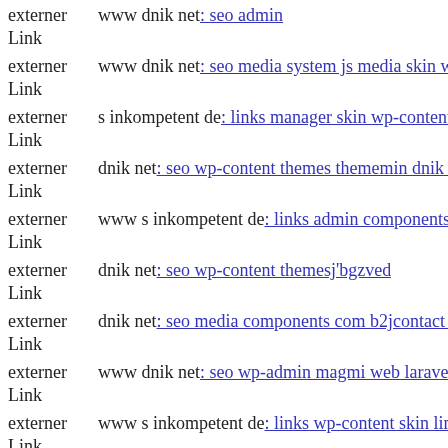externer Link  www dnik net: seo admin
externer Link  www dnik net: seo media system js media skin wp-content
externer Link  s inkompetent de: links manager skin wp-content themes sto
externer Link  dnik net: seo wp-content themes thememin dnik net
externer Link  www s inkompetent de: links admin components com sexyo
externer Link  dnik net: seo wp-content themesj'bgzved
externer Link  dnik net: seo media components com b2jcontact media sites
externer Link  www dnik net: seo wp-admin magmi web laravel-filemana
externer Link  www s inkompetent de: links wp-content skin links phpthum
externer Link  s inkompetent de: links admin administrator media system j
externer Link  s inkompetent de: links wp-content plugins wp-mobile-dete